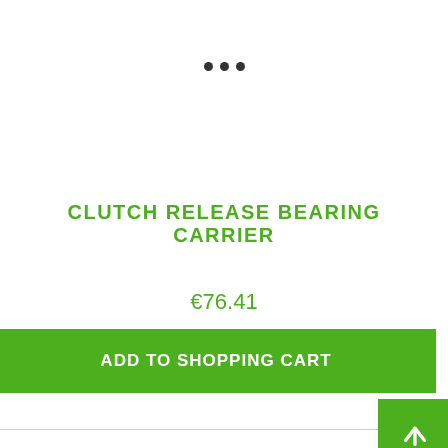[Figure (other): Three small dark dots arranged horizontally (image carousel indicator dots)]
CLUTCH RELEASE BEARING CARRIER
€76.41
ADD TO SHOPPING CART
This website uses cookies to ensure the best experience possible.
More information...
Deny
Configure
Accept all